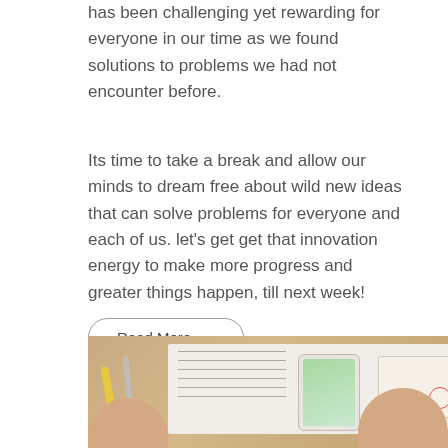has been challenging yet rewarding for everyone in our time as we found solutions to problems we had not encounter before.
Its time to take a break and allow our minds to dream free about wild new ideas that can solve problems for everyone and each of us. let's get get that innovation energy to make more progress and greater things happen, till next week!
Read More →
[Figure (photo): Photo of hands working on a desk with papers showing wireframe layouts, a smartphone, pencils, and design documents laid out on a wooden surface.]